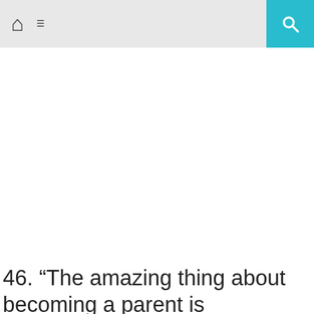Home | Menu | Search
[Figure (other): Advertisement or image placeholder area (blank/white)]
46. “The amazing thing about becoming a parent is that you will never again be your own first priority.”
We use cookies on our website to give you the most relevant experience by remembering your preferences and repeat visits. By clicking “Accept”, you consent to the use of ALL the cookies.
Cookie settings | ACCEPT